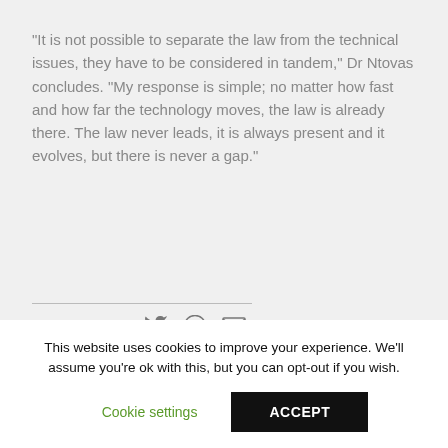"It is not possible to separate the law from the technical issues, they have to be considered in tandem," Dr Ntovas concludes. "My response is simple; no matter how fast and how far the technology moves, the law is already there. The law never leads, it is always present and it evolves, but there is never a gap."
Κοινοποίηση
This website uses cookies to improve your experience. We'll assume you're ok with this, but you can opt-out if you wish.
Cookie settings
ACCEPT